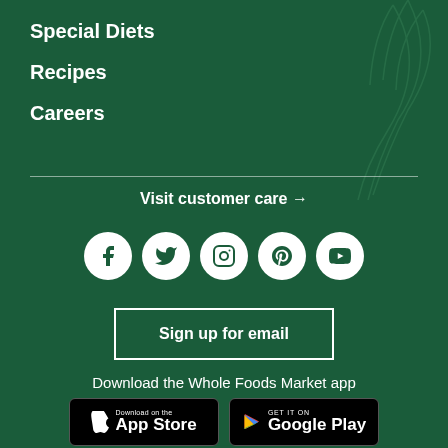Special Diets
Recipes
Careers
Visit customer care →
[Figure (other): Social media icons: Facebook, Twitter, Instagram, Pinterest, YouTube — white circles on dark green background]
Sign up for email
Download the Whole Foods Market app
[Figure (other): App Store and Google Play download buttons]